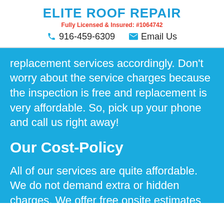ELITE ROOF REPAIR
Fully Licensed & Insured: #1064742
📞 916-459-6309  ✉ Email Us
replacement services accordingly. Don't worry about the service charges because the inspection is free and replacement is very affordable. So, pick up your phone and call us right away!
Our Cost-Policy
All of our services are quite affordable. We do not demand extra or hidden charges. We offer free onsite estimates and provide the best services at the best rates!